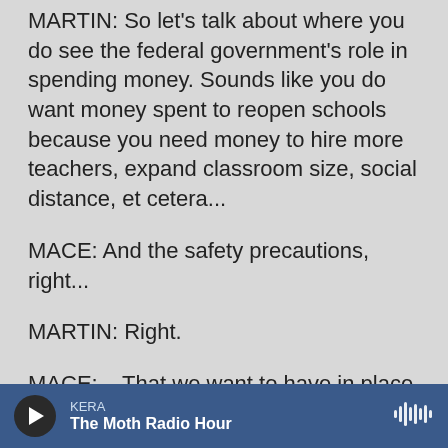MARTIN: So let's talk about where you do see the federal government's role in spending money. Sounds like you do want money spent to reopen schools because you need money to hire more teachers, expand classroom size, social distance, et cetera...
MACE: And the safety precautions, right...
MARTIN: Right.
MACE: ...That we want to have in place. Kids in masks, washing hands - all those things need to be put in place.
MARTIN: So you approve of more spending on education funding. What about the child care...
KERA
The Moth Radio Hour